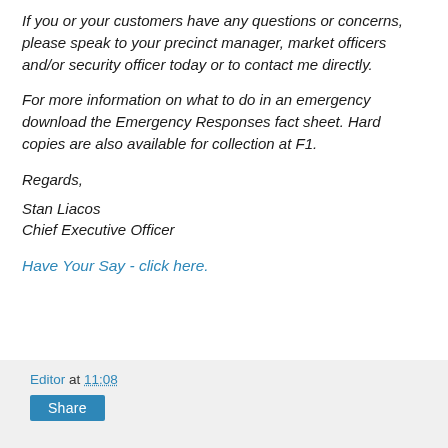If you or your customers have any questions or concerns, please speak to your precinct manager, market officers and/or security officer today or to contact me directly.
For more information on what to do in an emergency download the Emergency Responses fact sheet. Hard copies are also available for collection at F1.
Regards,
Stan Liacos
Chief Executive Officer
Have Your Say - click here.
Editor at 11:08
Share